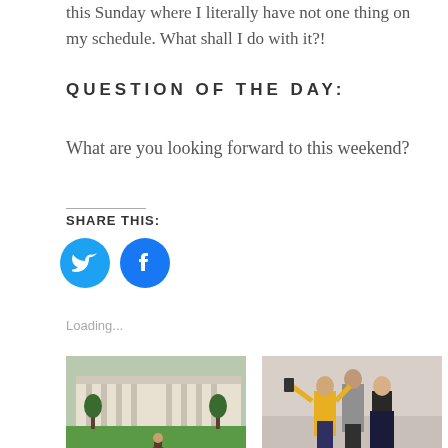this Sunday where I literally have not one thing on my schedule. What shall I do with it?!
QUESTION OF THE DAY:
What are you looking forward to this weekend?
SHARE THIS:
[Figure (illustration): Twitter and Facebook share buttons as blue circles with white icons]
Loading...
[Figure (photo): Photo of a person standing on a green lawn in front of a large building]
[Figure (photo): Photo of three people standing, one in a yellow top, one in gray, one in dark clothing]